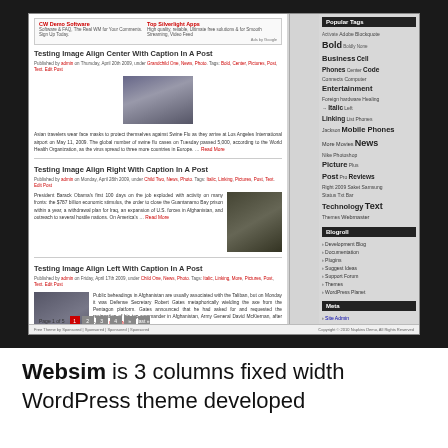[Figure (screenshot): Screenshot of a WordPress blog website showing multiple blog posts with images about Asian travelers with face masks, Obama's first 100 days, and Afghanistan. A sidebar shows Popular Tags and Blogroll widgets. The site uses a dark background with white content area.]
Websim is 3 columns fixed width WordPress theme developed